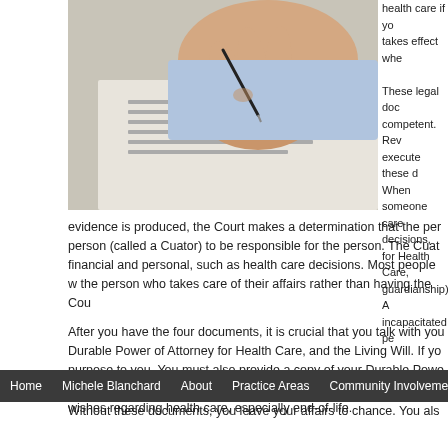[Figure (photo): A person's hand holding a pen and signing a document, viewed from above at an angle. The document appears to have printed text on it.]
health care if yo takes effect whe These legal doc competent. Rev execute these d When someone care decisions, for Health Care, guardianship). A incapacitated pe evidence is produced, the Court makes a determination that the per person (called a Cuator) to be responsible for the person. The Cuat financial and personal, such as health care decisions. Most people w the person who takes care of their affairs rather than having the Cou
After you have the four documents, it is crucial that you talk with you Durable Power of Attorney for Health Care, and the Living Will. If yo purpose to you. You must also provide a copy of your Durable Powe discussion with your Agent and your loved ones should include your wishes regarding health care, especially end-of-life.
Home   Michele Blanchard   About   Practice Areas   Community Involvemer
Without these documents, you leave your affairs to chance. You als